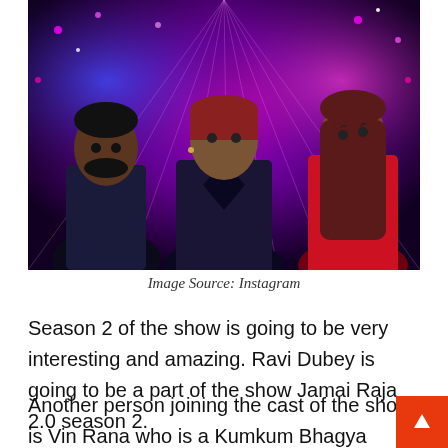[Figure (photo): Promotional image for Jamai Raja 2.0 season 2 showing three actors — a man in a dark suit with bow tie on the left, a woman in a dark dress in the center, and a woman in a red dress on the right — against a colorful purple/magenta lit studio background.]
Image Source: Instagram
Season 2 of the show is going to be very interesting and amazing. Ravi Dubey is going to be a part of the show Jamai Raja 2.0 season 2.
Another person joining the cast of the show is Vin Rana who is a Kumkum Bhagya fame. He is already on the cast of the show for the show.